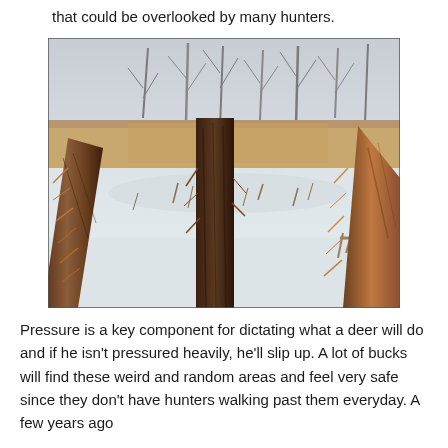that could be overlooked by many hunters.
[Figure (photo): Outdoor winter photo showing tree trunks with shredded bark in the foreground, a snow-covered ground with patches of dry grass, bare trees in the background under an overcast sky.]
Pressure is a key component for dictating what a deer will do and if he isn't pressured heavily, he'll slip up. A lot of bucks will find these weird and random areas and feel very safe since they don't have hunters walking past them everyday. A few years ago